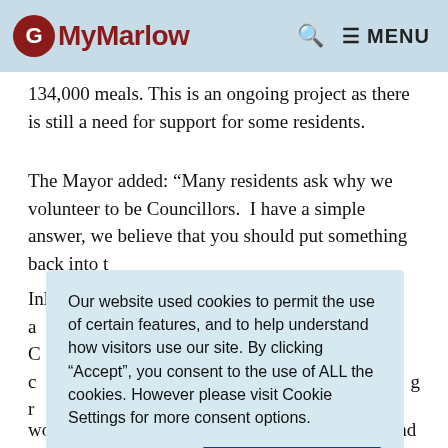MyMarlow
134,000 meals. This is an ongoing project as there is still a need for support for some residents.
The Mayor added: “Many residents ask why we volunteer to be Councillors. I have a simple answer, we believe that you should put something back into th
Our website used cookies to permit the use of certain features, and to help understand how visitors use our site. By clicking “Accept”, you consent to the use of ALL the cookies. However please visit Cookie Settings for more consent options.
wonderful job, filling the church with uplifting and